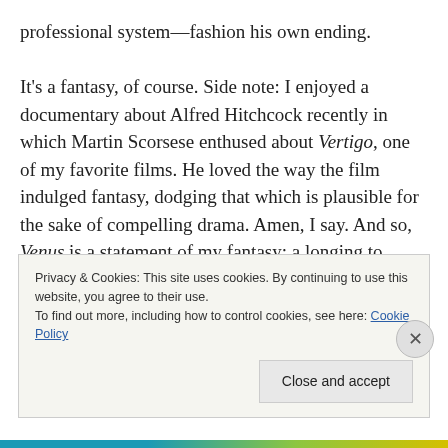professional system—fashion his own ending.

It's a fantasy, of course. Side note: I enjoyed a documentary about Alfred Hitchcock recently in which Martin Scorsese enthused about Vertigo, one of my favorite films. He loved the way the film indulged fantasy, dodging that which is plausible for the sake of compelling drama. Amen, I say. And so, Venus is a statement of my fantasy: a longing to matter when isolated and (at least sometimes) unheard. The story is ironic for me in so far as I am largely happy in my relatively isolated, private
Privacy & Cookies: This site uses cookies. By continuing to use this website, you agree to their use.
To find out more, including how to control cookies, see here: Cookie Policy
Close and accept